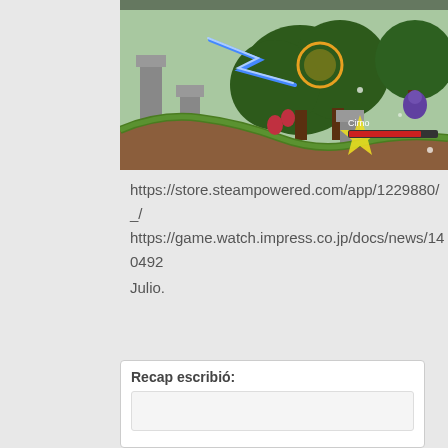[Figure (screenshot): Screenshot of a 2D side-scrolling action game showing characters fighting in a grassy outdoor environment with trees. A red health bar labeled 'Cirno' is visible at the bottom right.]
https://store.steampowered.com/app/1229880/_/
https://game.watch.impress.co.jp/docs/news/140492
Julio.
Recap escribió: